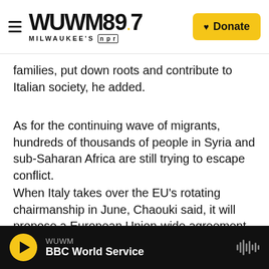WUWM 89.7 MILWAUKEE'S NPR — Donate
families, put down roots and contribute to Italian society, he added.
As for the continuing wave of migrants, hundreds of thousands of people in Syria and sub-Saharan Africa are still trying to escape conflict.
When Italy takes over the EU's rotating chairmanship in June, Chaouki said, it will propose a European Union-wide agreement granting temporary humanitarian visas so that each member state can take in its share of asylum seekers.
WUWM — BBC World Service